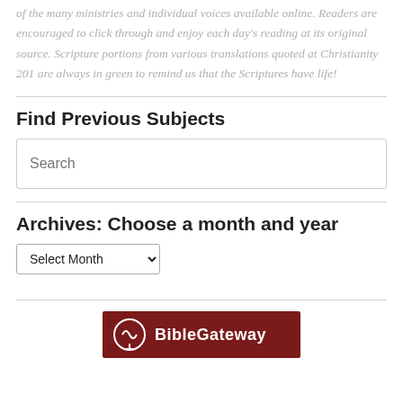of the many ministries and individual voices available online. Readers are encouraged to click through and enjoy each day's reading at its original source. Scripture portions from various translations quoted at Christianity 201 are always in green to remind us that the Scriptures have life!
Find Previous Subjects
Search
Archives: Choose a month and year
Select Month
[Figure (logo): BibleGateway logo on dark red/maroon background with headphones icon]